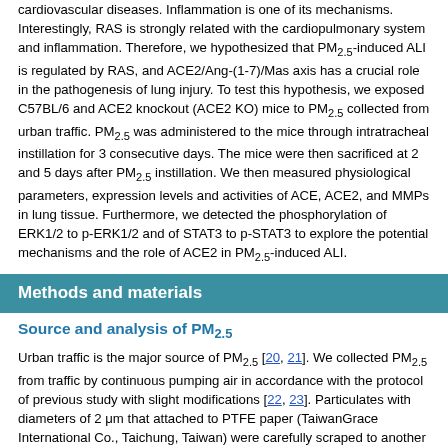cardiovascular diseases. Inflammation is one of its mechanisms. Interestingly, RAS is strongly related with the cardiopulmonary system and inflammation. Therefore, we hypothesized that PM2.5-induced ALI is regulated by RAS, and ACE2/Ang-(1-7)/Mas axis has a crucial role in the pathogenesis of lung injury. To test this hypothesis, we exposed C57BL/6 and ACE2 knockout (ACE2 KO) mice to PM2.5 collected from urban traffic. PM2.5 was administered to the mice through intratracheal instillation for 3 consecutive days. The mice were then sacrificed at 2 and 5 days after PM2.5 instillation. We then measured physiological parameters, expression levels and activities of ACE, ACE2, and MMPs in lung tissue. Furthermore, we detected the phosphorylation of ERK1/2 to p-ERK1/2 and of STAT3 to p-STAT3 to explore the potential mechanisms and the role of ACE2 in PM2.5-induced ALI.
Methods and materials
Source and analysis of PM2.5
Urban traffic is the major source of PM2.5 [20, 21]. We collected PM2.5 from traffic by continuous pumping air in accordance with the protocol of previous study with slight modifications [22, 23]. Particulates with diameters of 2 μm that attached to PTFE paper (TaiwanGrace International Co., Taichung, Taiwan) were carefully scraped to another piece of filter paper (Toyo Roshi Kaisha, Tokyo, Japan). Then, water was added to wash out particulates by suction filtration. The liquid was then collected and sonicated for 5 minutes, and this step was repeated thrice. The particulates were freeze-dried until excess water was completely removed. The particulates were sterilized and dissolved in DMSO (Sigma-Aldrich, Louis, MO, USA) to 10 mg/mL as stock for later use.